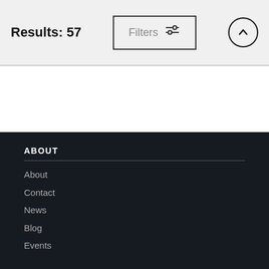Results: 57
[Figure (screenshot): Filters button with sliders icon]
[Figure (screenshot): Up arrow circle button]
ABOUT
About
Contact
News
Blog
Events
SHOP
All Products
Canvas Prints
Framed Prints